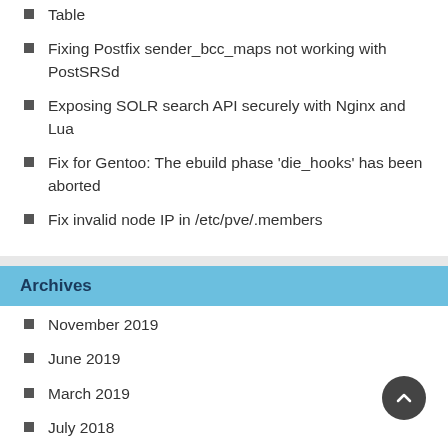Table
Fixing Postfix sender_bcc_maps not working with PostSRSd
Exposing SOLR search API securely with Nginx and Lua
Fix for Gentoo: The ebuild phase 'die_hooks' has been aborted
Fix invalid node IP in /etc/pve/.members
Archives
November 2019
June 2019
March 2019
July 2018
October 2017
April 2017